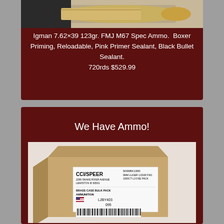[Figure (photo): Top portion of a card showing ammunition/bullets photo against dark red background]
Igman 7.62×39 123gr. FMJ M67 Spec Ammo.  Boxer Priming, Reloadable, Pink Primer Sealant, Black Bullet Sealant. 720rds $529.99
We Have Ammo!
[Figure (photo): CCI/SPEER 9mm Luger 115gr FMJ 1000ct Loose Pack brass case bulk pack ammunition cardboard box with label showing L2BY403 095 and barcode]